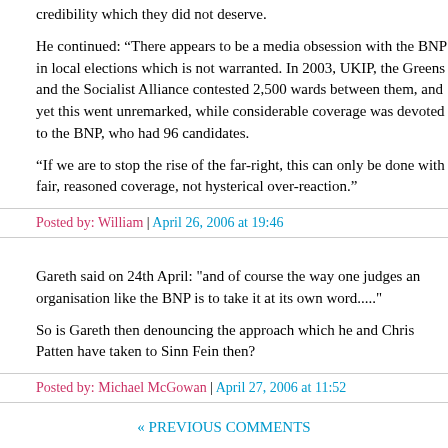credibility which they did not deserve.
He continued: “There appears to be a media obsession with the BNP in local elections which is not warranted. In 2003, UKIP, the Greens and the Socialist Alliance contested 2,500 wards between them, and yet this went unremarked, while considerable coverage was devoted to the BNP, who had 96 candidates.
“If we are to stop the rise of the far-right, this can only be done with fair, reasoned coverage, not hysterical over-reaction.”
Posted by: William | April 26, 2006 at 19:46
Gareth said on 24th April: "and of course the way one judges an organisation like the BNP is to take it at its own word....."
So is Gareth then denouncing the approach which he and Chris Patten have taken to Sinn Fein then?
Posted by: Michael McGowan | April 27, 2006 at 11:52
« PREVIOUS COMMENTS
The comments to this entry are closed.